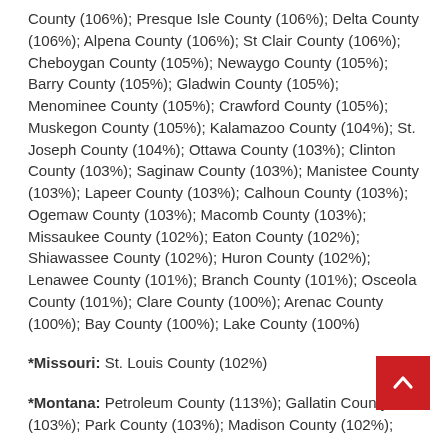County (106%); Presque Isle County (106%); Delta County (106%); Alpena County (106%); St Clair County (106%); Cheboygan County (105%); Newaygo County (105%); Barry County (105%); Gladwin County (105%); Menominee County (105%); Crawford County (105%); Muskegon County (105%); Kalamazoo County (104%); St. Joseph County (104%); Ottawa County (103%); Clinton County (103%); Saginaw County (103%); Manistee County (103%); Lapeer County (103%); Calhoun County (103%); Ogemaw County (103%); Macomb County (103%); Missaukee County (102%); Eaton County (102%); Shiawassee County (102%); Huron County (102%); Lenawee County (101%); Branch County (101%); Osceola County (101%); Clare County (100%); Arenac County (100%); Bay County (100%); Lake County (100%)
*Missouri: St. Louis County (102%)
*Montana: Petroleum County (113%); Gallatin County (103%); Park County (103%); Madison County (102%);